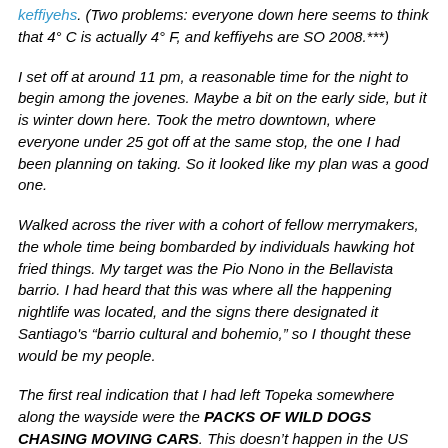keffiyehs. (Two problems: everyone down here seems to think that 4° C is actually 4° F, and keffiyehs are SO 2008.***)
I set off at around 11 pm, a reasonable time for the night to begin among the jovenes. Maybe a bit on the early side, but it is winter down here. Took the metro downtown, where everyone under 25 got off at the same stop, the one I had been planning on taking. So it looked like my plan was a good one.
Walked across the river with a cohort of fellow merrymakers, the whole time being bombarded by individuals hawking hot fried things. My target was the Pio Nono in the Bellavista barrio. I had heard that this was where all the happening nightlife was located, and the signs there designated it Santiago's "barrio cultural and bohemio," so I thought these would be my people.
The first real indication that I had left Topeka somewhere along the wayside were the PACKS OF WILD DOGS CHASING MOVING CARS. This doesn't happen in the US